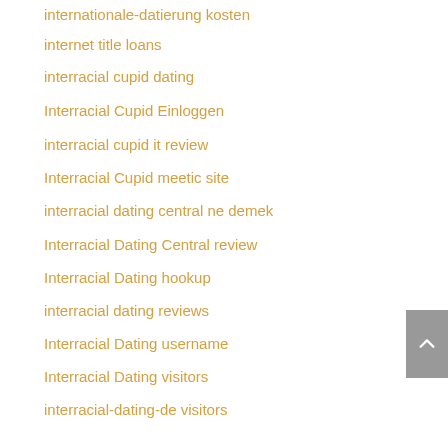internationale-datierung kosten
internet title loans
interracial cupid dating
Interracial Cupid Einloggen
interracial cupid it review
Interracial Cupid meetic site
interracial dating central ne demek
Interracial Dating Central review
Interracial Dating hookup
interracial dating reviews
Interracial Dating username
Interracial Dating visitors
interracial-dating-de visitors
interracial-dating.net which dating app should i use
interracialcupid review